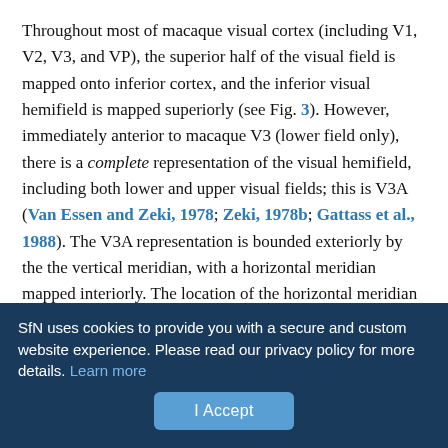Throughout most of macaque visual cortex (including V1, V2, V3, and VP), the superior half of the visual field is mapped onto inferior cortex, and the inferior visual hemifield is mapped superiorly (see Fig. 3). However, immediately anterior to macaque V3 (lower field only), there is a complete representation of the visual hemifield, including both lower and upper visual fields; this is V3A (Van Essen and Zeki, 1978; Zeki, 1978b; Gattass et al., 1988). The V3A representation is bounded exteriorly by the the vertical meridian, with a horizontal meridian mapped interiorly. The location of the horizontal meridian representation, and even the upper versus lower visual fields, in our diagram of V3A are estimated from discrepant descriptions in the previous literature (Van Essen and Zeki, 1978;
SfN uses cookies to provide you with a secure and custom website experience. Please read our privacy policy for more details. Learn more